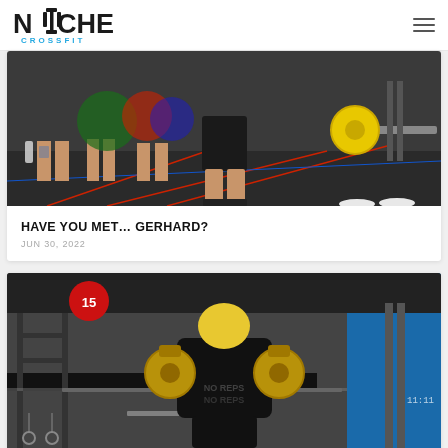NICHE CROSSFIT
[Figure (photo): CrossFit gym photo showing a person mid-movement with barbells and weight plates visible, other athletes in the background on a gym floor with red/blue tape lines]
HAVE YOU MET… GERHARD?
JUN 30, 2022
[Figure (photo): CrossFit athlete doing a kettlebell goblet squat or clean movement with two large golden/yellow kettlebells, wearing a black shirt that reads NO REPS, inside a gym with blue walls and equipment]